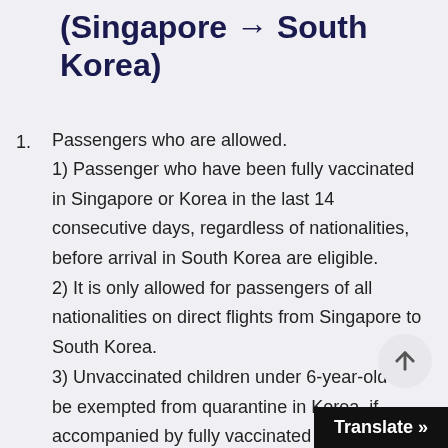(Singapore → South Korea)
Passengers who are allowed.
1) Passenger who have been fully vaccinated in Singapore or Korea in the last 14 consecutive days, regardless of nationalities, before arrival in South Korea are eligible.
2) It is only allowed for passengers of all nationalities on direct flights from Singapore to South Korea.
3) Unvaccinated children under 6-year-old can be exempted from quarantine in Korea, if accompanied by fully vaccinated family.